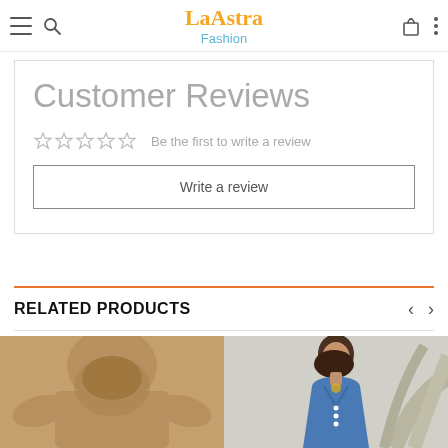La Astra Fashion - navigation header with hamburger menu, search, cart, and options icons
Customer Reviews
☆☆☆☆☆ Be the first to write a review
Write a review
RELATED PRODUCTS
[Figure (photo): Brown/khaki hoodie sweatshirt product photo]
[Figure (photo): Woman wearing a blue V-neck button-front dress with white decorative plant in the background]